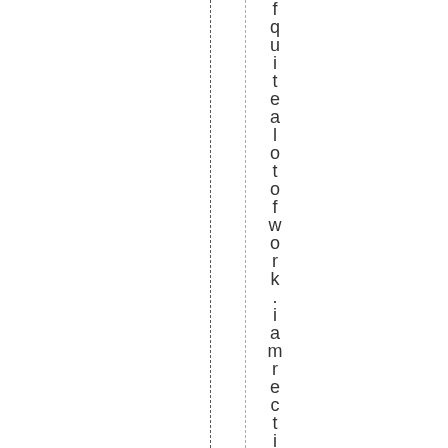f quite a lot of work . i am rectifying